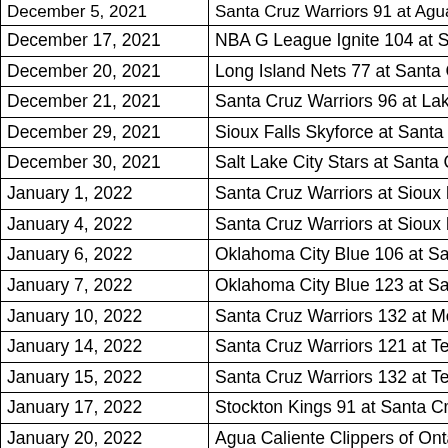| Date | Game |
| --- | --- |
| December 5, 2021 | Santa Cruz Warriors 91 at Agua Ca… |
| December 17, 2021 | NBA G League Ignite 104 at Santa C… |
| December 20, 2021 | Long Island Nets 77 at Santa Cruz W… |
| December 21, 2021 | Santa Cruz Warriors 96 at Lakeland… |
| December 29, 2021 | Sioux Falls Skyforce at Santa Cruz W… |
| December 30, 2021 | Salt Lake City Stars at Santa Cruz W… |
| January 1, 2022 | Santa Cruz Warriors at Sioux Falls S… |
| January 4, 2022 | Santa Cruz Warriors at Sioux Falls S… |
| January 6, 2022 | Oklahoma City Blue 106 at Santa Cr… |
| January 7, 2022 | Oklahoma City Blue 123 at Santa Cr… |
| January 10, 2022 | Santa Cruz Warriors 132 at Memphi… |
| January 14, 2022 | Santa Cruz Warriors 121 at Texas Le… |
| January 15, 2022 | Santa Cruz Warriors 132 at Texas Le… |
| January 17, 2022 | Stockton Kings 91 at Santa Cruz Wa… |
| January 20, 2022 | Agua Caliente Clippers of Ontario 1… |
| January 22, 2022 | Santa Cruz Warriors 113 at Oklaho… |
| January 25, 2022 | Santa Cruz Warriors 110 at Rio Gra… |
| January 27, 2022 | Santa Cruz Warriors 111 at Rio Gra… |
| January 30, 2022 | Santa Cruz Warriors 123 at Austin S… |
| February 1, 2022 | Santa Cruz Warriors 110 at Birmingh… |
| February 4, 2022 | Rio Grande Valley Vipers 127 at San… |